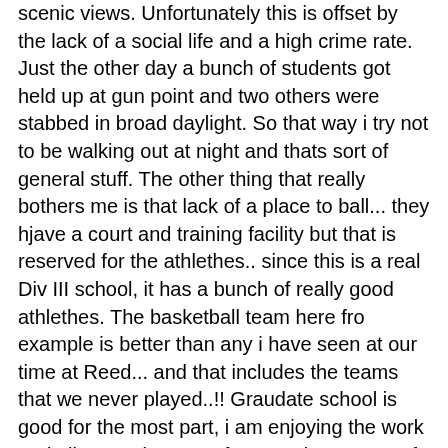scenic views. Unfortunately this is offset by the lack of a social life and a high crime rate. Just the other day a bunch of students got held up at gun point and two others were stabbed in broad daylight. So that way i try not to be walking out at night and thats sort of general stuff. The other thing that really bothers me is that lack of a place to ball... they hjave a court and training facility but that is reserved for the athlethes.. since this is a real Div III school, it has a bunch of really good athlethes. The basketball team here fro example is better than any i have seen at our time at Reed... and that includes the teams that we never played..!! Graudate school is good for the most part, i am enjoying the work and all, sometimes get frustrated my some of the undergraduate students, they dont seem to give a shit. Perhaps Reed had more commited students but here most people seem to be about how they look, partying and fast cars...in class they are about as intelligent as hamsters.... The only other newsworthy thing is that i have started interning at a design house called Lead Dog Productions. I am a graphic designer there....